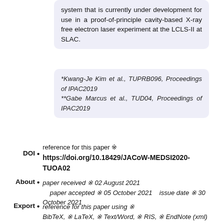system that is currently under development for use in a proof-of-principle cavity-based X-ray free electron laser experiment at the LCLS-II at SLAC.
*Kwang-Je Kim et al., TUPRB096, Proceedings of IPAC2019
**Gabe Marcus et al., TUD04, Proceedings of IPAC2019
reference for this paper ※
DOI • https://doi.org/10.18429/JACoW-MEDSI2020-TUOA02
About • paper received ※ 02 August 2021 paper accepted ※ 05 October 2021 issue date ※ 30 October 2021
Export • reference for this paper using ※ BibTeX, ※ LaTeX, ※ Text/Word, ※ RIS, ※ EndNote (xml)